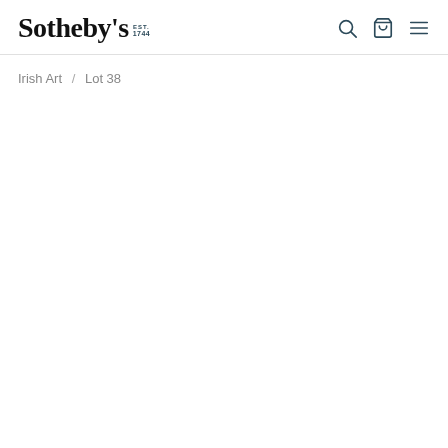Sotheby's EST. 1744
Irish Art / Lot 38